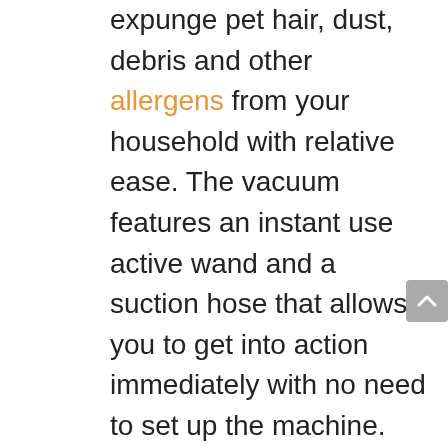expunge pet hair, dust, debris and other allergens from your household with relative ease. The vacuum features an instant use active wand and a suction hose that allows you to get into action immediately with no need to set up the machine.
It also comes with an electronic height adjustment that allows you to clean all types of surfaces, ranging from hard floors to carpets. Furthermore, its rubber wheels and bumpers not only protect your home from dents and scratches when cleaning, but also make it extremely